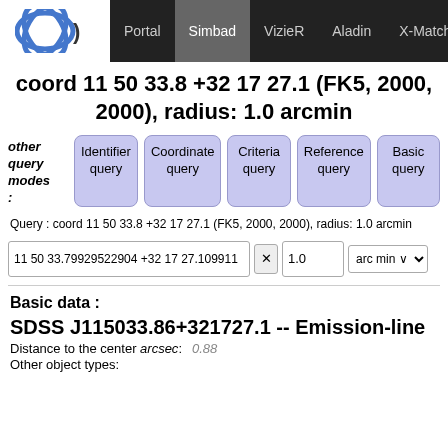Portal | Simbad | VizieR | Aladin | X-Match | Other
coord 11 50 33.8 +32 17 27.1 (FK5, 2000, 2000), radius: 1.0 arcmin
other query modes: Identifier query | Coordinate query | Criteria query | Reference query | Basic query
Query : coord 11 50 33.8 +32 17 27.1 (FK5, 2000, 2000), radius: 1.0 arcmin
11 50 33.79929522904 +32 17 27.109911   1.0   arc min
Basic data :
SDSS J115033.86+321727.1 -- Emission-line
Distance to the center arcsec: 0.88
Other object types: